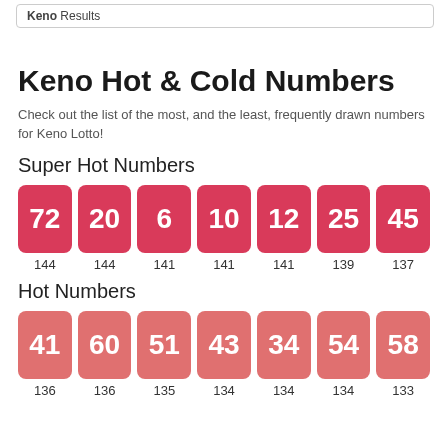Keno Results
Keno Hot & Cold Numbers
Check out the list of the most, and the least, frequently drawn numbers for Keno Lotto!
Super Hot Numbers
[Figure (other): Seven red tiles showing Super Hot Numbers: 72, 20, 6, 10, 12, 25, 45 with counts 144, 144, 141, 141, 141, 139, 137]
Hot Numbers
[Figure (other): Seven red tiles showing Hot Numbers: 41, 60, 51, 43, 34, 54, 58 with counts 136, 136, 135, 134, 134, 134, 133]